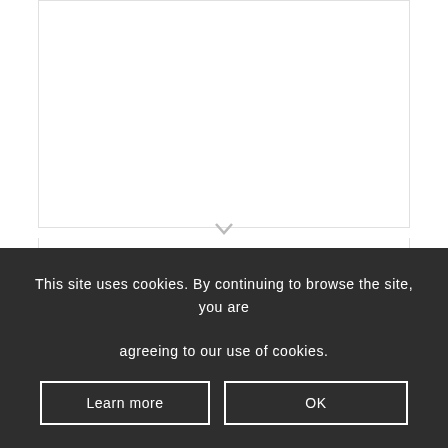[Figure (photo): Product image placeholder area (white/empty)]
SPECIAL OFFER! “Golden Sun” Boomerang + frames + engraved text on the steel plate
Sale!
124.00 USD • 99.00 USD
This site uses cookies. By continuing to browse the site, you are agreeing to our use of cookies.
Learn more
OK